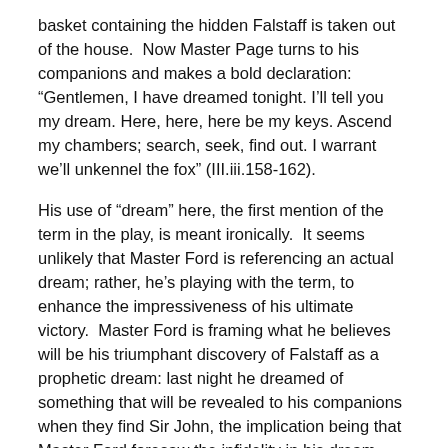basket containing the hidden Falstaff is taken out of the house.  Now Master Page turns to his companions and makes a bold declaration: “Gentlemen, I have dreamed tonight. I’ll tell you my dream. Here, here, here be my keys. Ascend my chambers; search, seek, find out. I warrant we’ll unkennel the fox” (III.iii.158-162).
His use of “dream” here, the first mention of the term in the play, is meant ironically.  It seems unlikely that Master Ford is referencing an actual dream; rather, he’s playing with the term, to enhance the impressiveness of his ultimate victory.  Master Ford is framing what he believes will be his triumphant discovery of Falstaff as a prophetic dream: last night he dreamed of something that will be revealed to his companions when they find Sir John, the implication being that Master Ford foresaw the infidelity in his dream, and now his companions will see tangible proof that his dream has come true and he was right all